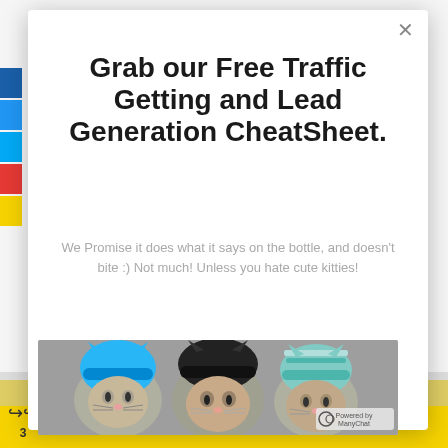So many great suggestions! Thanks,
Grab our Free Traffic Getting and Lead Generation CheatSheet.
We Promise it does what it says on the bottle, and doesn't bite :) Not much! Unless you hate cute kitties!
[Figure (photo): Three cats wearing colorful knitted hats/hoods — blue, black, and teal striped]
Cookie Settings   Accept
3